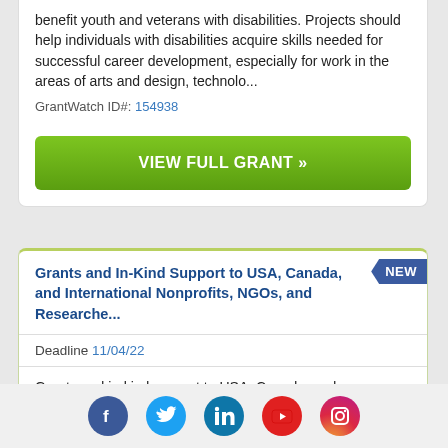benefit youth and veterans with disabilities. Projects should help individuals with disabilities acquire skills needed for successful career development, especially for work in the areas of arts and design, technolo...
GrantWatch ID#: 154938
VIEW FULL GRANT »
Grants and In-Kind Support to USA, Canada, and International Nonprofits, NGOs, and Researche...
Deadline 11/04/22
Grants and in-kind support to USA, Canada, and International nonprofit organizations, researchers, NGOs, startups, and academic institutions to develop affordable assistive technologies for individuals with disabilities. The purpose of the opportunity is to improve the
[Figure (infographic): Social media icons row: Facebook (blue), Twitter (light blue), LinkedIn (teal/blue), YouTube (red), Instagram (gradient pink/purple)]